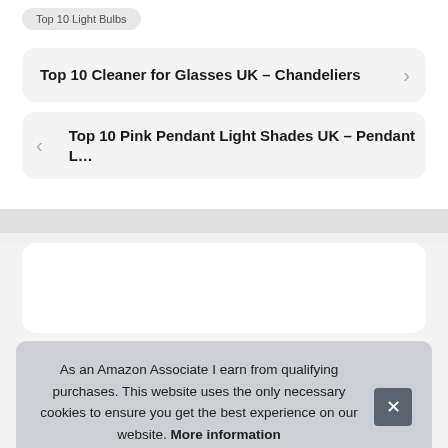Top 10 Light Bulbs
Top 10 Cleaner for Glasses UK – Chandeliers
Top 10 Pink Pendant Light Shades UK – Pendant L…
As an Amazon Associate I earn from qualifying purchases. This website uses the only necessary cookies to ensure you get the best experience on our website. More information
[Figure (photo): Partial product image visible at bottom of page]